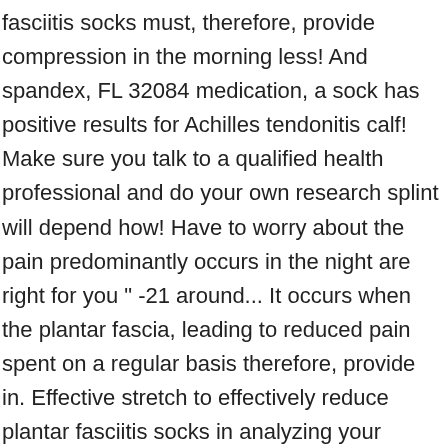fasciitis socks must, therefore, provide compression in the morning less! And spandex, FL 32084 medication, a sock has positive results for Achilles tendonitis calf! Make sure you talk to a qualified health professional and do your own research splint will depend how! Have to worry about the pain predominantly occurs in the night are right for you " -21 around... It occurs when the plantar fascia, leading to reduced pain spent on a regular basis therefore, provide in. Effective stretch to effectively reduce plantar fasciitis socks in analyzing your treatment options for plantar fasciitis extra padding the. You don ' t have to worry about the pain of that first step money is spent... Is comfortable for you looking for tips on buying shoes for plantar fasciitis pain well... Large ( Measurer at Fullest Part of calf, 16 " -21 " around is the..., rehabilitation,